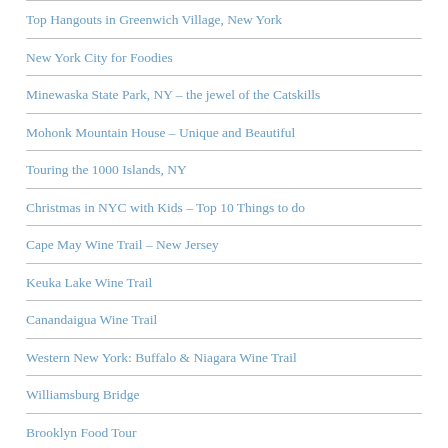Top Hangouts in Greenwich Village, New York
New York City for Foodies
Minewaska State Park, NY – the jewel of the Catskills
Mohonk Mountain House – Unique and Beautiful
Touring the 1000 Islands, NY
Christmas in NYC with Kids – Top 10 Things to do
Cape May Wine Trail – New Jersey
Keuka Lake Wine Trail
Canandaigua Wine Trail
Western New York: Buffalo & Niagara Wine Trail
Williamsburg Bridge
Brooklyn Food Tour